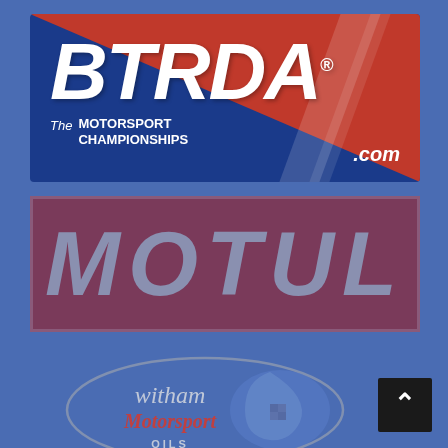[Figure (logo): BTRDA - The Motorsport Championships logo on dark blue background with red diagonal stripe and .com text]
[Figure (logo): MOTUL logo in grey text on dark maroon/purple rectangular background with grey border]
[Figure (logo): Witham Motorsport Oils oval logo on blue background]
[Figure (other): Scroll-to-top button with upward arrow on black background]